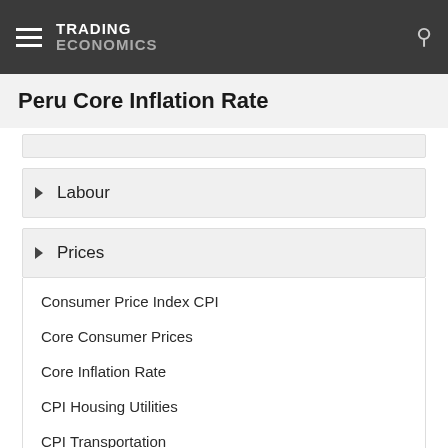TRADING ECONOMICS
Peru Core Inflation Rate
Labour
Prices
Consumer Price Index CPI
Core Consumer Prices
Core Inflation Rate
CPI Housing Utilities
CPI Transportation
Export Prices
Food Inflation
Import Prices
Inflation Rate
Inflation Rate MoM
Producer Prices